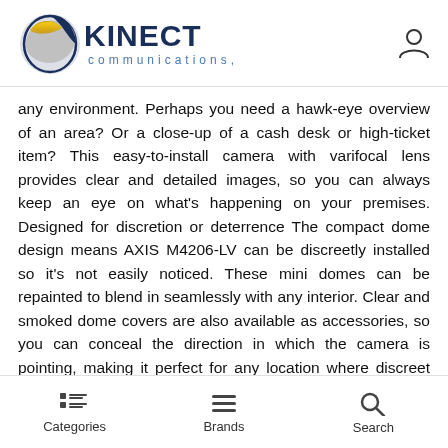[Figure (logo): Kinect Communications, LLC logo with swirl graphic and user account icon in top right]
any environment. Perhaps you need a hawk-eye overview of an area? Or a close-up of a cash desk or high-ticket item? This easy-to-install camera with varifocal lens provides clear and detailed images, so you can always keep an eye on what's happening on your premises. Designed for discretion or deterrence The compact dome design means AXIS M4206-LV can be discreetly installed so it's not easily noticed. These mini domes can be repainted to blend in seamlessly with any interior. Clear and smoked dome covers are also available as accessories, so you can conceal the direction in which the camera is pointing, making it perfect for any location where discreet monitoring is needed to protect your assets. Plus, it can be used as a visible deterrent to discourage antisocial and criminal behavior
Categories   Brands   Search